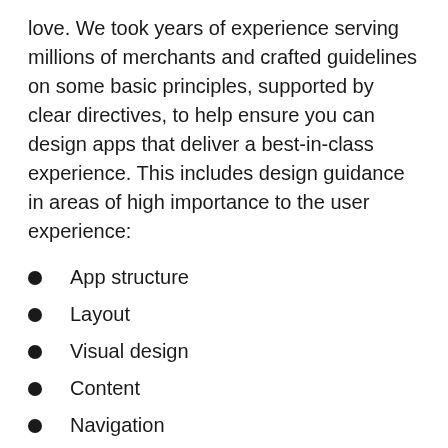love. We took years of experience serving millions of merchants and crafted guidelines on some basic principles, supported by clear directives, to help ensure you can design apps that deliver a best-in-class experience. This includes design guidance in areas of high importance to the user experience:
App structure
Layout
Visual design
Content
Navigation
In each section of the App Design Guidelines